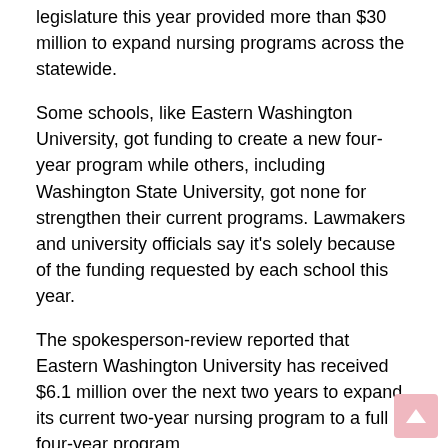legislature this year provided more than $30 million to expand nursing programs across the statewide.
Some schools, like Eastern Washington University, got funding to create a new four-year program while others, including Washington State University, got none for strengthen their current programs. Lawmakers and university officials say it's solely because of the funding requested by each school this year.
The spokesperson-review reported that Eastern Washington University has received $6.1 million over the next two years to expand its current two-year nursing program to a full four-year program.
Western Washington University received funding this year to create a new Master of Science and Nursing program, which will enroll 10 to 15 students each year. They also received $433,000 to increase their registered nurse's enrollment in the baccalaureate nursing program.